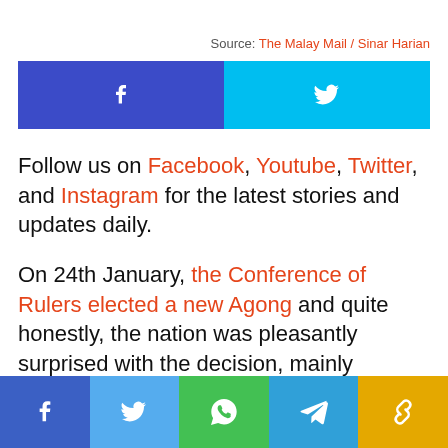Source: The Malay Mail / Sinar Harian
[Figure (other): Facebook and Twitter share buttons]
Follow us on Facebook, Youtube, Twitter, and Instagram for the latest stories and updates daily.
On 24th January, the Conference of Rulers elected a new Agong and quite honestly, the nation was pleasantly surprised with the decision, mainly because Sultan
[Figure (other): Bottom social share bar with Facebook, Twitter, WhatsApp, Telegram, and link icons]